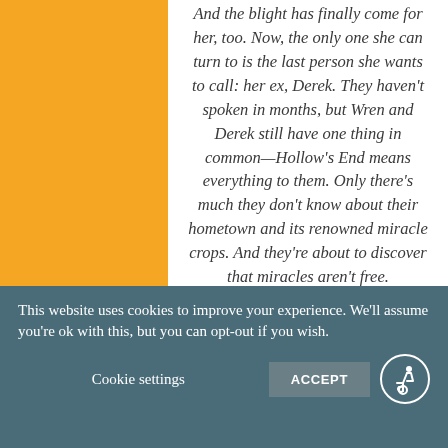And the blight has finally come for her, too. Now, the only one she can turn to is the last person she wants to call: her ex, Derek. They haven't spoken in months, but Wren and Derek still have one thing in common—Hollow's End means everything to them. Only there's much they don't know about their hometown and its renowned miracle crops. And they're about to discover that miracles aren't free.

Their ancestors have an awful lot to pay for, and Wren and Derek are the only ones
This website uses cookies to improve your experience. We'll assume you're ok with this, but you can opt-out if you wish.
Cookie settings  ACCEPT